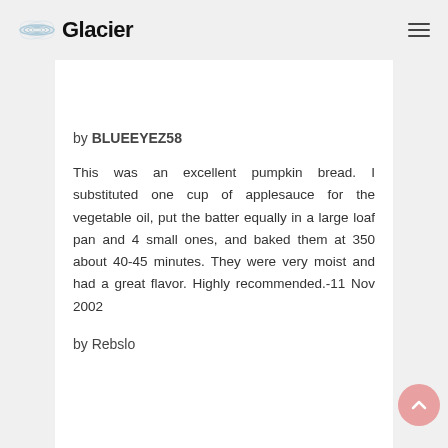Glacier
by BLUEEYEZ58
This was an excellent pumpkin bread. I substituted one cup of applesauce for the vegetable oil, put the batter equally in a large loaf pan and 4 small ones, and baked them at 350 about 40-45 minutes. They were very moist and had a great flavor. Highly recommended.-11 Nov 2002
by Rebslo